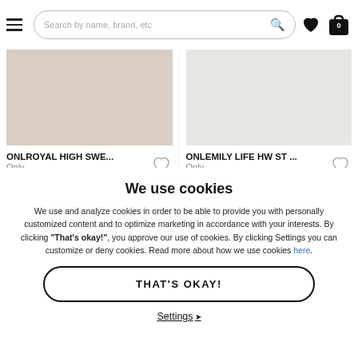NELLY.COM — Search by name, brand, etc
ONLROYAL HIGH SWE... — Only — 39,95 €
ONLEMILY LIFE HW ST ... — Only — 39,95 € 11,99 € 70%
We use cookies
We use and analyze cookies in order to be able to provide you with personally customized content and to optimize marketing in accordance with your interests. By clicking "That's okay!", you approve our use of cookies. By clicking Settings you can customize or deny cookies. Read more about how we use cookies here.
THAT'S OKAY!
Settings